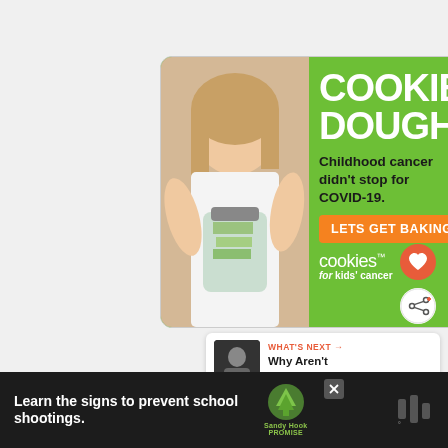[Figure (illustration): Advertisement for Cookies for Kids' Cancer. Green background with a smiling girl holding a jar of money. Large white text says 'COOKIE DOUGH'. Text: 'Childhood cancer didn't stop for COVID-19. LETS GET BAKING!' Orange button with CTA. Cookies for Kids' Cancer logo at bottom.]
[Figure (illustration): Orange circular heart/favorite button on the right side of the page.]
[Figure (illustration): White circular share button on the right side of the page.]
WHAT'S NEXT → Why Aren't There 128-Bi...
[Figure (illustration): Bottom advertisement bar: dark background. Text: 'Learn the signs to prevent school shootings.' Sandy Hook Promise logo and another logo on the right.]